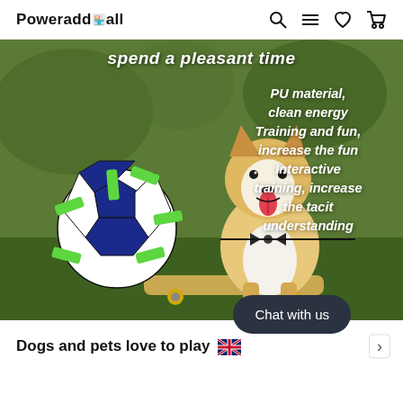Poweraddmall
[Figure (photo): A Corgi dog wearing a bow tie, sitting on a skateboard on grass, next to a soccer ball with green rubber handles/tabs. Text overlay reads 'spend a pleasant time' at top, and on the right: 'PU material, clean energy Training and fun, increase the fun Interactive training, increase the tacit understanding']
Chat with us
Dogs and pets love to play